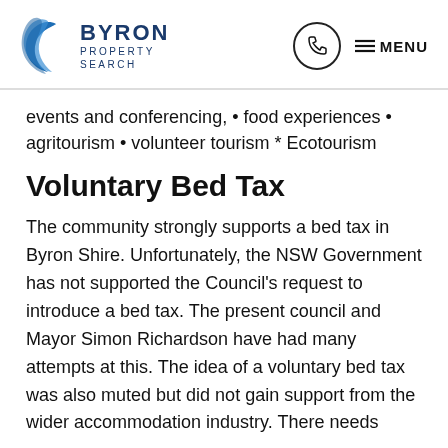Byron Property Search — MENU
events and conferencing, • food experiences • agritourism • volunteer tourism * Ecotourism
Voluntary Bed Tax
The community strongly supports a bed tax in Byron Shire. Unfortunately, the NSW Government has not supported the Council's request to introduce a bed tax. The present council and Mayor Simon Richardson have had many attempts at this. The idea of a voluntary bed tax was also muted but did not gain support from the wider accommodation industry. There needs